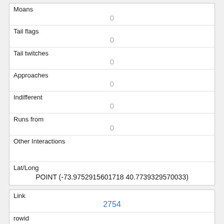| Field | Value |
| --- | --- |
| Moans | 0 |
| Tail flags | 0 |
| Tail twitches | 0 |
| Approaches | 0 |
| Indifferent | 0 |
| Runs from | 0 |
| Other Interactions |  |
| Lat/Long | POINT (-73.9752915601718 40.7739329570033) |
| Field | Value |
| --- | --- |
| Link | 2754 |
| rowid | 2754 |